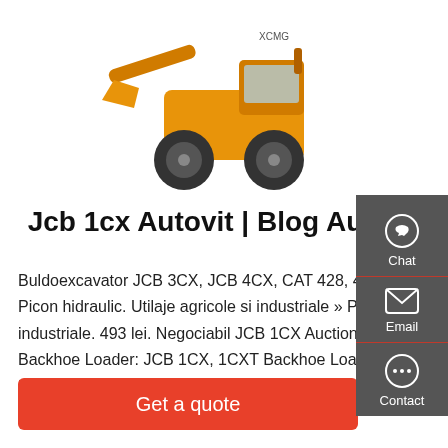[Figure (photo): Yellow XCMG wheel loader / front-end loader construction machine on white background]
Jcb 1cx Autovit | Blog Autovit
Buldoexcavator JCB 3CX, JCB 4CX, CAT 428, 432, 427f2. Picon hidraulic. Utilaje agricole si industriale » Piese utilaje industriale. 493 lei. Negociabil JCB 1CX Auction Results. JCB Backhoe Loader: JCB 1CX, 1CXT Backhoe Loader Service Repair Manual (EN - 9813/6050 - ISSUE 2 - 07/2018) JCB 2D, 2DS, 3, 3C,
[Figure (infographic): Dark grey side panel with Chat, Email, and Contact buttons with icons]
Get a quote